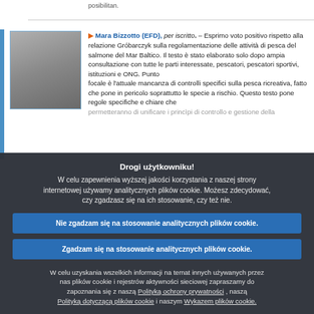posibilitan.
[Figure (photo): Portrait photo of a woman, cropped headshot]
▶ Mara Bizzotto (EFD), per iscritto. – Esprimo voto positivo rispetto alla relazione Gróbarczyk sulla regolamentazione delle attività di pesca del salmone del Mar Baltico. Il testo è stato elaborato solo dopo ampia consultazione con tutte le parti interessate, pescatori, pescatori sportivi, istituzioni e ONG. Punto focale è l'attuale mancanza di controlli specifici sulla pesca ricreativa, fatto che pone in pericolo soprattutto le specie a rischio. Questo testo pone regole specifiche e chiare che permetteranno di unificare i princìpi di controllo e gestione della
Drogi użytkowniku!
W celu zapewnienia wyższej jakości korzystania z naszej strony internetowej używamy analitycznych plików cookie. Możesz zdecydować, czy zgadzasz się na ich stosowanie, czy też nie.
Nie zgadzam się na stosowanie analitycznych plików cookie.
Zgadzam się na stosowanie analitycznych plików cookie.
W celu uzyskania wszelkich informacji na temat innych używanych przez nas plików cookie i rejestrów aktywności sieciowej zapraszamy do zapoznania się z naszą Polityką ochrony prywatności , naszą Polityką dotyczącą plików cookie i naszym Wykazem plików cookie.